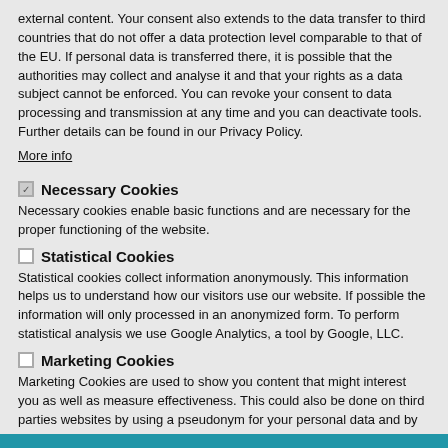external content. Your consent also extends to the data transfer to third countries that do not offer a data protection level comparable to that of the EU. If personal data is transferred there, it is possible that the authorities may collect and analyse it and that your rights as a data subject cannot be enforced. You can revoke your consent to data processing and transmission at any time and you can deactivate tools. Further details can be found in our Privacy Policy.
More info
Necessary Cookies
Necessary cookies enable basic functions and are necessary for the proper functioning of the website.
Statistical Cookies
Statistical cookies collect information anonymously. This information helps us to understand how our visitors use our website. If possible the information will only processed in an anonymized form. To perform statistical analysis we use Google Analytics, a tool by Google, LLC.
Marketing Cookies
Marketing Cookies are used to show you content that might interest you as well as measure effectiveness. This could also be done on third parties websites by using a pseudonym for your personal data and by that display you content on other websites that might be relevant for you. Marketing Cookies also include cookies for Social Media Applications. On this Website we use e.g. Cookies by Twitter, Inc.